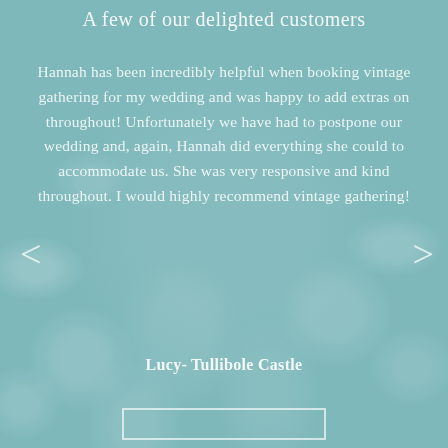A few of our delighted customers
Hannah has been incredibly helpful when booking vintage gathering for my wedding and was happy to add extras on throughout! Unfortunately we have had to postpone our wedding and, again, Hannah did everything she could to accommodate us. She was very responsive and kind throughout. I would highly recommend vintage gathering!
Lucy- Tullibole Castle